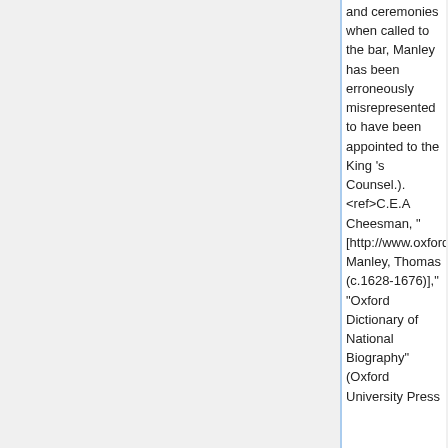and ceremonies when called to the bar, Manley has been erroneously misrepresented to have been appointed to the King 's Counsel.). <ref>C.E.A Cheesman, " [http://www.oxforddnb.com/view/article/17941 Manley, Thomas (c.1628-1676)]," "Oxford Dictionary of National Biography" (Oxford University Press...